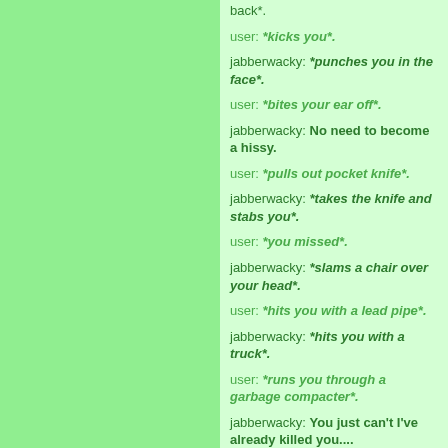back*.
user: *kicks you*.
jabberwacky: *punches you in the face*.
user: *bites your ear off*.
jabberwacky: No need to become a hissy.
user: *pulls out pocket knife*.
jabberwacky: *takes the knife and stabs you*.
user: *you missed*.
jabberwacky: *slams a chair over your head*.
user: *hits you with a lead pipe*.
jabberwacky: *hits you with a truck*.
user: *runs you through a garbage compacter*.
jabberwacky: You just can't I've already killed you....